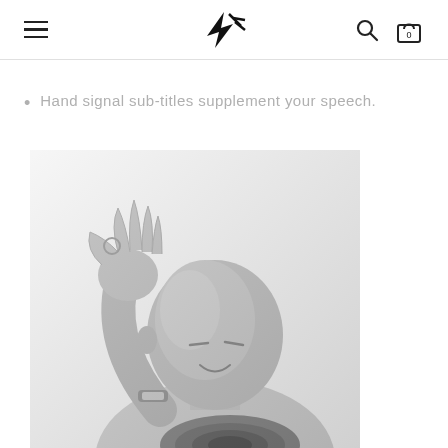Navigation header with hamburger menu, logo, search icon, and cart icon (0)
Hand signal sub-titles supplement your speech.
[Figure (photo): Black and white photograph of a bald man making an 'OK' hand gesture with his right hand, looking downward, wearing a watch, appears to be holding a camera lens at the bottom of the frame.]